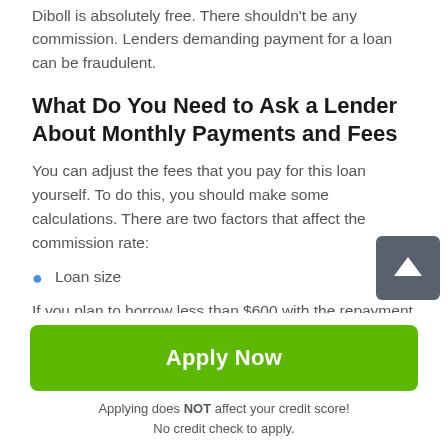Diboll is absolutely free. There shouldn't be any commission. Lenders demanding payment for a loan can be fraudulent.
What Do You Need to Ask a Lender About Monthly Payments and Fees
You can adjust the fees that you pay for this loan yourself. To do this, you should make some calculations. There are two factors that affect the commission rate:
Loan size
If you plan to borrow less than $600 with the repayment
Apply Now
Applying does NOT affect your credit score!
No credit check to apply.